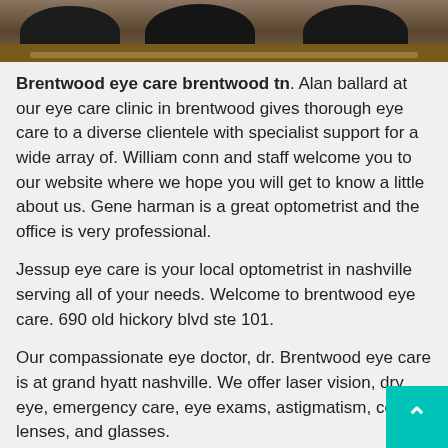[Figure (photo): Interior photo of an eye care clinic or waiting area with chairs and a wooden table surface]
Brentwood eye care brentwood tn. Alan ballard at our eye care clinic in brentwood gives thorough eye care to a diverse clientele with specialist support for a wide array of. William conn and staff welcome you to our website where we hope you will get to know a little about us. Gene harman is a great optometrist and the office is very professional.
Jessup eye care is your local optometrist in nashville serving all of your needs. Welcome to brentwood eye care. 690 old hickory blvd ste 101.
Our compassionate eye doctor, dr. Brentwood eye care is at grand hyatt nashville. We offer laser vision, dry eye, emergency care, eye exams, astigmatism, contact lenses, and glasses.
They will go out of their way to order things they don't have, get them quickly and are really good about calling you immediately when they come in. The full spectrum of eye care is offered to clients of all ages, from children to older